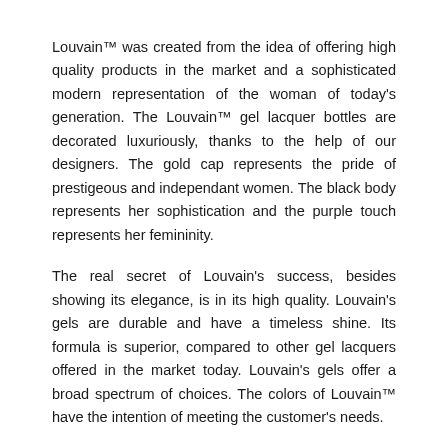Louvain™ was created from the idea of offering high quality products in the market and a sophisticated modern representation of the woman of today's generation. The Louvain™ gel lacquer bottles are decorated luxuriously, thanks to the help of our designers. The gold cap represents the pride of prestigeous and independant women. The black body represents her sophistication and the purple touch represents her femininity.
The real secret of Louvain's success, besides showing its elegance, is in its high quality. Louvain's gels are durable and have a timeless shine. Its formula is superior, compared to other gel lacquers offered in the market today. Louvain's gels offer a broad spectrum of choices. The colors of Louvain™ have the intention of meeting the customer's needs.